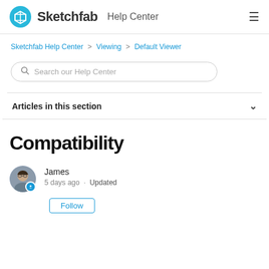Sketchfab Help Center
Sketchfab Help Center > Viewing > Default Viewer
Search our Help Center
Articles in this section
Compatibility
James
5 days ago · Updated
Follow